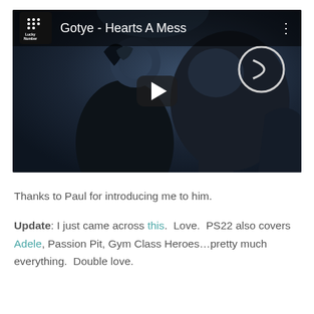[Figure (screenshot): YouTube video thumbnail for 'Gotye - Hearts A Mess' showing a dark animated figure with Lucky Number music label logo and a play button overlay]
Thanks to Paul for introducing me to him.
Update: I just came across this.  Love.  PS22 also covers Adele, Passion Pit, Gym Class Heroes…pretty much everything.  Double love.